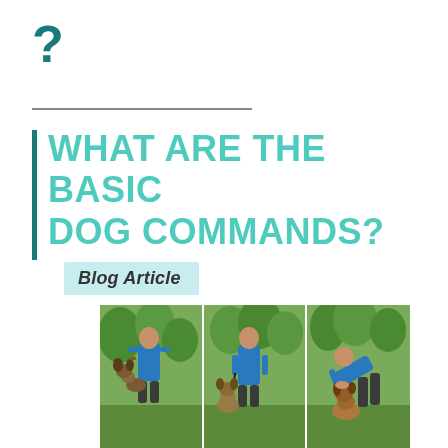WHAT ARE THE BASIC DOG COMMANDS?
Blog Article
[Figure (photo): Three-panel photo of a dog trainer in a blue polo shirt working with a Belgian Malinois dog in an outdoor green setting. Left panel: trainer standing with dog jumping up. Center panel: trainer holding dog on leash. Right panel: trainer bending down to interact with dog.]